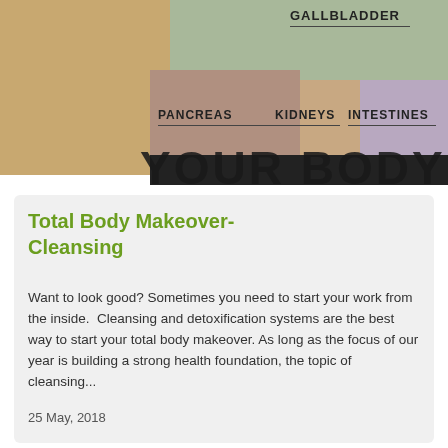[Figure (illustration): Anatomical body diagram showing labeled regions: Gallbladder, Pancreas, Kidneys, Intestines over a stylized torso with 'YOUR BODY' text in large bold letters at the bottom of the image section.]
Total Body Makeover-Cleansing
Want to look good? Sometimes you need to start your work from the inside.  Cleansing and detoxification systems are the best way to start your total body makeover. As long as the focus of our year is building a strong health foundation, the topic of cleansing...
25 May, 2018